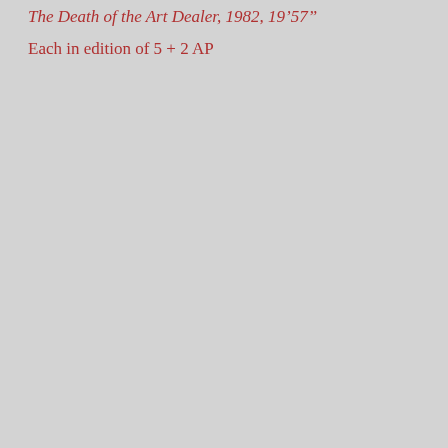The Death of the Art Dealer, 1982, 19'57"
Each in edition of 5 + 2 AP